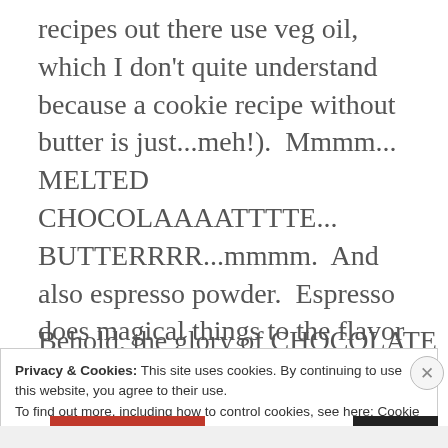recipes out there use veg oil, which I don't quite understand because a cookie recipe without butter is just...meh!).  Mmmm... MELTED CHOCOLAAAATTTTE... BUTTERRRR...mmmm.  And also espresso powder.  Espresso does magical things to the flavor of chocolate.  And so I gave it a go.
Behold, the glory of CHOCOLATE CRINKLE
Privacy & Cookies: This site uses cookies. By continuing to use this website, you agree to their use.
To find out more, including how to control cookies, see here: Cookie Policy